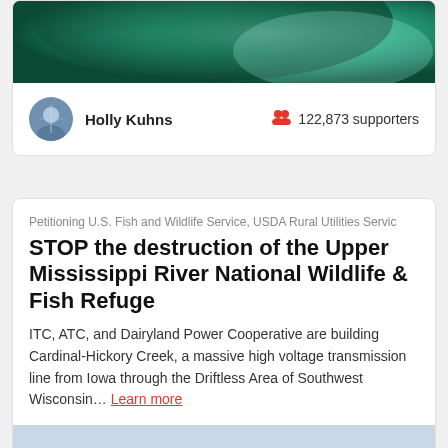[Figure (photo): Aerial or close-up photo with teal/green color tones, partially visible at top of page]
Holly Kuhns
122,873 supporters
Petitioning U.S. Fish and Wildlife Service, USDA Rural Utilities Servic
STOP the destruction of the Upper Mississippi River National Wildlife & Fish Refuge
ITC, ATC, and Dairyland Power Cooperative are building Cardinal-Hickory Creek, a massive high voltage transmission line from Iowa through the Driftless Area of Southwest Wisconsin… Learn more
[Figure (photo): Landscape photo showing a rural/natural scene with bare trees on right, snowy ground, and blue-gray sky]